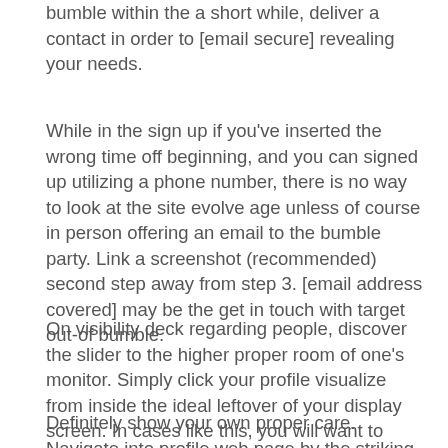bumble within the a short while, deliver a contact in order to [email secure] revealing your needs.
While in the sign up if you've inserted the wrong time off beginning, and you can signed up utilizing a phone number, there is no way to look at the site evolve age unless of course in person offering an email to the bumble party. Link a screenshot (recommended) second step away from step 3. [email address covered] may be the get in touch with target out-of bumble.
On visibility deck regarding people, discover the slider to the higher proper room of one's monitor. Simply click your profile visualize from inside the ideal leftover of your display screen. In cases like this, you will want to would a second profile or perhaps quite simply the fresh term you prefer once they need the fundamental info while in the.
Definitely show your own proper care. Navigate into profile web page by the striking the name and profile photos to the